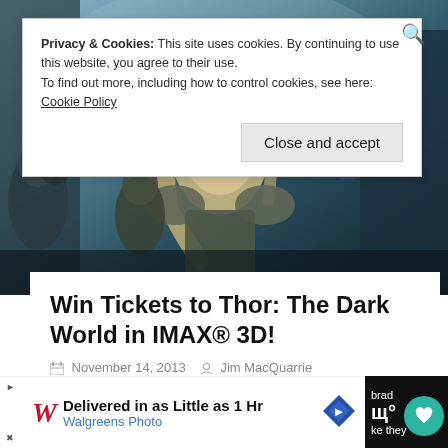Privacy & Cookies: This site uses cookies. By continuing to use this website, you agree to their use.
To find out more, including how to control cookies, see here: Cookie Policy
Close and accept
[Figure (photo): Movie promotional banner image for Thor: The Dark World showing a blond long-haired warrior in armor with battle scene background]
Win Tickets to Thor: The Dark World in IMAX® 3D!
November 14, 2013   Jim MacQuarrie
So you haven't seen Thor: The Dark World yet; you want to but you've just been too busy. But you want to see it on the
[Figure (infographic): Walgreens Photo advertisement: Delivered in as Little as 1 Hr]
brad
they